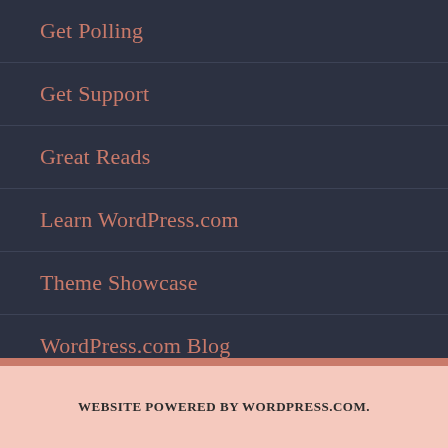Get Polling
Get Support
Great Reads
Learn WordPress.com
Theme Showcase
WordPress.com Blog
My Tweets
WEBSITE POWERED BY WORDPRESS.COM.